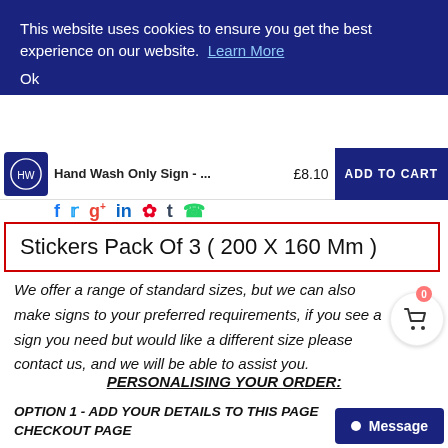This website uses cookies to ensure you get the best experience on our website. Learn More
Ok
Hand Wash Only Sign - ...   £8.10   ADD TO CART
Stickers Pack Of 3 ( 200 X 160 Mm )
We offer a range of standard sizes, but we can also make signs to your preferred requirements, if you see a sign you need but would like a different size please contact us, and we will be able to assist you.
PERSONALISING YOUR ORDER:
OPTION 1 - ADD YOUR DETAILS TO THIS PAGE CHECKOUT PAGE